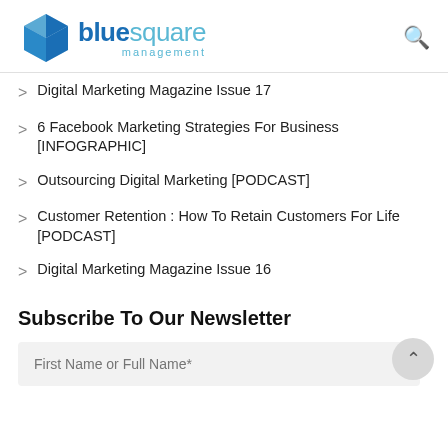bluesquare management
Digital Marketing Magazine Issue 17
6 Facebook Marketing Strategies For Business [INFOGRAPHIC]
Outsourcing Digital Marketing [PODCAST]
Customer Retention : How To Retain Customers For Life [PODCAST]
Digital Marketing Magazine Issue 16
Subscribe To Our Newsletter
First Name or Full Name*